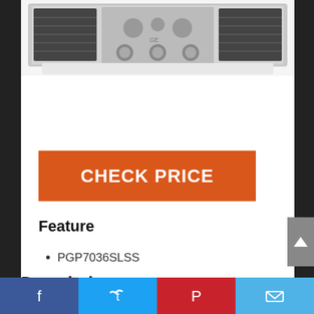[Figure (photo): Top portion of a GE gas cooktop (stainless steel) with burner grates and control knobs visible]
CHECK PRICE
Feature
PGP7036SLSS
Description
[Figure (other): Social media sharing bar with Facebook, Twitter, Pinterest, and email icons]